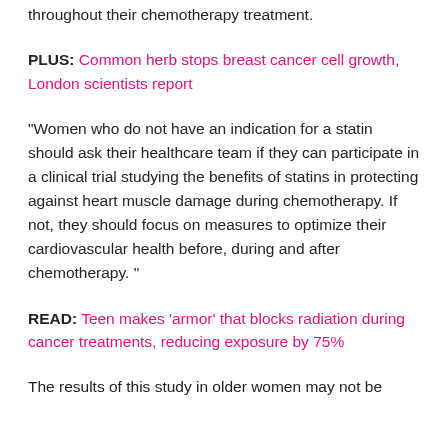throughout their chemotherapy treatment.
PLUS: Common herb stops breast cancer cell growth, London scientists report
“Women who do not have an indication for a statin should ask their healthcare team if they can participate in a clinical trial studying the benefits of statins in protecting against heart muscle damage during chemotherapy. If not, they should focus on measures to optimize their cardiovascular health before, during and after chemotherapy. ”
READ: Teen makes ‘armor’ that blocks radiation during cancer treatments, reducing exposure by 75%
The results of this study in older women may not be